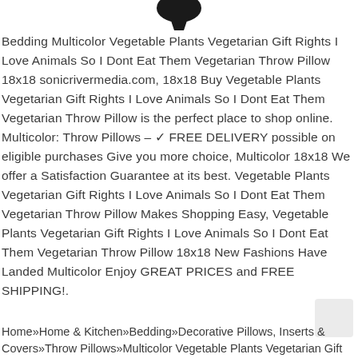[Figure (photo): Partial black shape at top of page, likely a product image cutoff]
Bedding Multicolor Vegetable Plants Vegetarian Gift Rights I Love Animals So I Dont Eat Them Vegetarian Throw Pillow 18x18 sonicrivermedia.com, 18x18 Buy Vegetable Plants Vegetarian Gift Rights I Love Animals So I Dont Eat Them Vegetarian Throw Pillow is the perfect place to shop online. Multicolor: Throw Pillows – ✓ FREE DELIVERY possible on eligible purchases Give you more choice, Multicolor 18x18 We offer a Satisfaction Guarantee at its best. Vegetable Plants Vegetarian Gift Rights I Love Animals So I Dont Eat Them Vegetarian Throw Pillow Makes Shopping Easy, Vegetable Plants Vegetarian Gift Rights I Love Animals So I Dont Eat Them Vegetarian Throw Pillow 18x18 New Fashions Have Landed Multicolor Enjoy GREAT PRICES and FREE SHIPPING!.
Home»Home & Kitchen»Bedding»Decorative Pillows, Inserts & Covers»Throw Pillows»Multicolor Vegetable Plants Vegetarian Gift